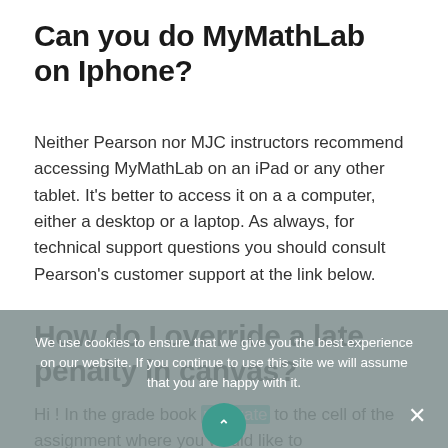Can you do MyMathLab on Iphone?
Neither Pearson nor MJC instructors recommend accessing MyMathLab on an iPad or any other tablet. It’s better to access it on a a computer, either a desktop or a laptop. As always, for technical support questions you should consult Pearson’s customer support at the link below.
How do I override a late penalty in canvas?
Hi ! In the grade book navigate to the cell of the assignment where you would like to